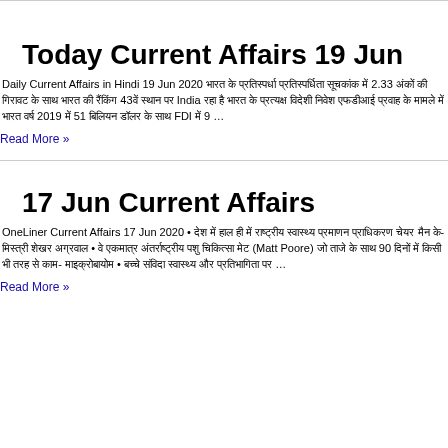Today Current Affairs 19 Jun
Daily Current Affairs in Hindi 19 Jun 2020 भारत के प्रतिस्पर्धा प्रतिस्पर्धिता सूचकांक में 2.33 अंकों की गिरावट के साथ भारत की रैंकिंग 43वें स्थान पर India रहा है भारत के प्रत्यक्ष विदेशी निवेश एफडीआई प्रवाह के मामले में भारत वर्ष 2019 में 51 बिलियन डॉलर के साथ FDI में 9 …
Read More »
17 Jun Current Affairs
OneLiner Current Affairs 17 Jun 2020 • देश में हाल ही में राष्ट्रीय स्वास्थ्य प्रमाणन प्राधिकरण चेयर मैन के- मिस्त्री शेखर अग्रवाल • वे एकमात्र अंतर्राष्ट्रीय पशु चिकित्सा मेट (Matt Poore) जो ताजे के साथ 90 दिनों में किसी भी तरह से काम- माइक्रोबायोम • बच्चे संविदा स्वास्थ्य और प्रतिभागिता पर …
Read More »